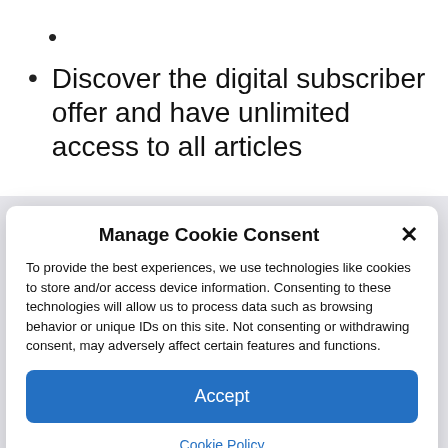Discover the digital subscriber offer and have unlimited access to all articles
Manage Cookie Consent
To provide the best experiences, we use technologies like cookies to store and/or access device information. Consenting to these technologies will allow us to process data such as browsing behavior or unique IDs on this site. Not consenting or withdrawing consent, may adversely affect certain features and functions.
Accept
Cookie Policy